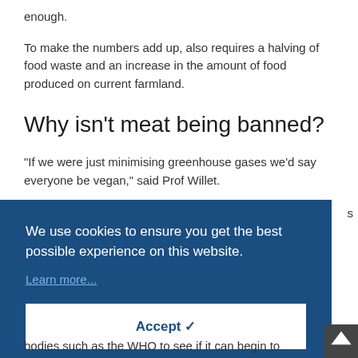enough.
To make the numbers add up, also requires a halving of food waste and an increase in the amount of food produced on current farmland.
Why isn't meat being banned?
"If we were just minimising greenhouse gases we'd say everyone be vegan," said Prof Willet.
s
We use cookies to ensure you get the best possible experience on this website.
Learn more...
Accept ✔
bodies such as the WHO to see if it can begin to